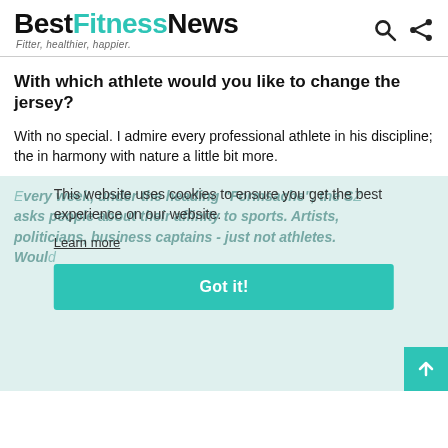BestFitnessNews — Fitter, healthier, happier.
With which athlete would you like to change the jersey?
With no special. I admire every professional athlete in his discipline; the in harmony with nature a little bit more.
Every week, under the heading "Formsache", the SZ asks people about their affinity to sports. Artists, politicians, business captains - just not athletes. Would...
This website uses cookies to ensure you get the best experience on our website.
Learn more
Got it!